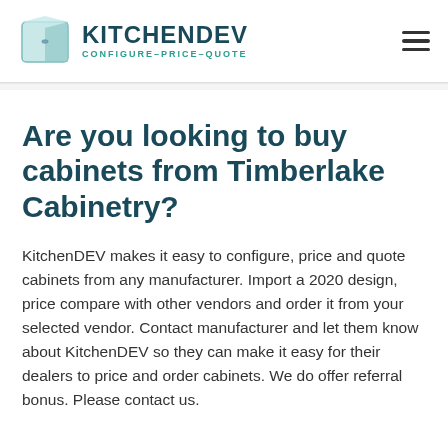KITCHENDEV CONFIGURE-PRICE-QUOTE
Are you looking to buy cabinets from Timberlake Cabinetry?
KitchenDEV makes it easy to configure, price and quote cabinets from any manufacturer. Import a 2020 design, price compare with other vendors and order it from your selected vendor. Contact manufacturer and let them know about KitchenDEV so they can make it easy for their dealers to price and order cabinets. We do offer referral bonus. Please contact us.